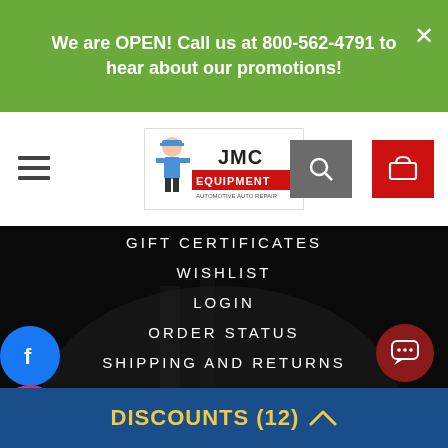We are OPEN! Call us at 800-562-4791 to hear about our promotions!
[Figure (logo): JMC Equipment automotive equipment dealer logo with mechanic cartoon and car]
GIFT CERTIFICATES
WISHLIST
LOGIN
ORDER STATUS
SHIPPING AND RETURNS
QUICK LINKS
ABOUT US
CONTACT US
DISCOUNTS (12)